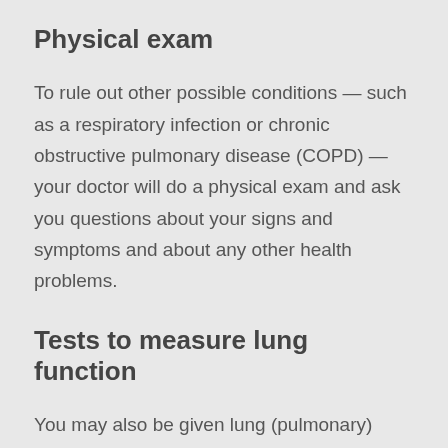Physical exam
To rule out other possible conditions — such as a respiratory infection or chronic obstructive pulmonary disease (COPD) — your doctor will do a physical exam and ask you questions about your signs and symptoms and about any other health problems.
Tests to measure lung function
You may also be given lung (pulmonary) function tests to determine how much air moves in and out as you breathe. These tests may include: